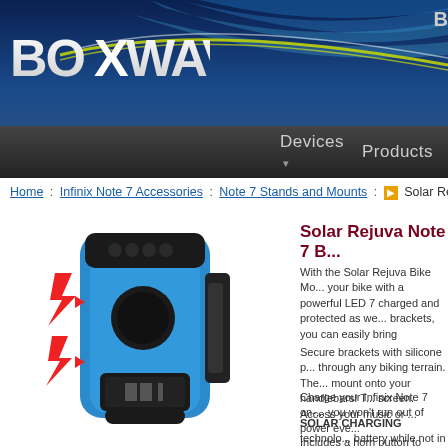[Figure (screenshot): BoxWave website header with logo, navigation bar showing Devices and Products menu items, blue gradient background with swoosh design]
Home : Infinix Note 7 Accessories : Note 7 Stands and Mounts : Solar Re...
[Figure (photo): Blue and black Solar Rejuva Bike Mount device with LED light, alarm horn button marked with red lightning bolt icons]
Solar Rejuva Note 7 B...
With the Solar Rejuva Bike Mo... your bike with a powerful LED 7 charged and protected as we... brackets, you can easily bring
Secure brackets with silicone p... through any biking terrain. The... mount onto your handlebars! T... screen. Access your music or ...
Charge your Infinix Note 7 on-... you won't run out of power eve...
SOLAR CHARGING technolo... battery while not in use, no nee...
Includes a horn button to acce...